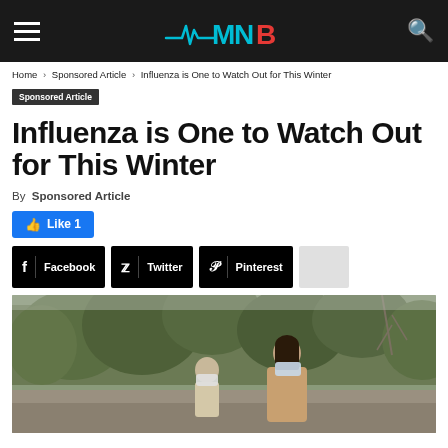NNB - site logo and navigation
Home > Sponsored Article > Influenza is One to Watch Out for This Winter
Sponsored Article
Influenza is One to Watch Out for This Winter
By Sponsored Article
Like 1
Facebook  Twitter  Pinterest
[Figure (photo): A woman and child walking outdoors wearing face masks, autumn trees in background]